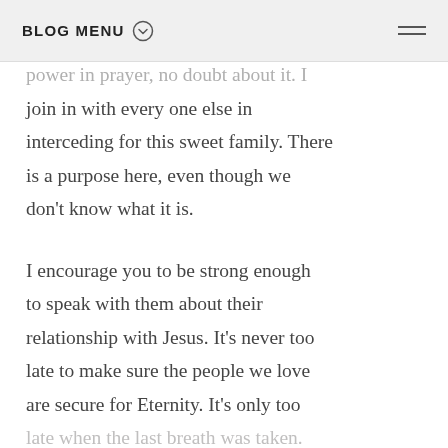BLOG MENU
power in prayer, no doubt about it. I join in with every one else in interceding for this sweet family. There is a purpose here, even though we don't know what it is.
I encourage you to be strong enough to speak with them about their relationship with Jesus. It's never too late to make sure the people we love are secure for Eternity. It's only too late when the last breath was taken.